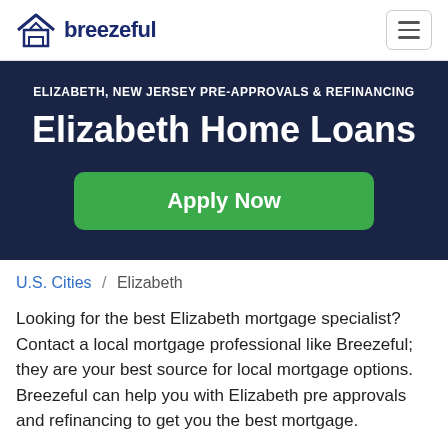breezeful
ELIZABETH, NEW JERSEY PRE-APPROVALS & REFINANCING
Elizabeth Home Loans
Apply Now
U.S. Cities / Elizabeth
Looking for the best Elizabeth mortgage specialist? Contact a local mortgage professional like Breezeful; they are your best source for local mortgage options. Breezeful can help you with Elizabeth pre approvals and refinancing to get you the best mortgage.